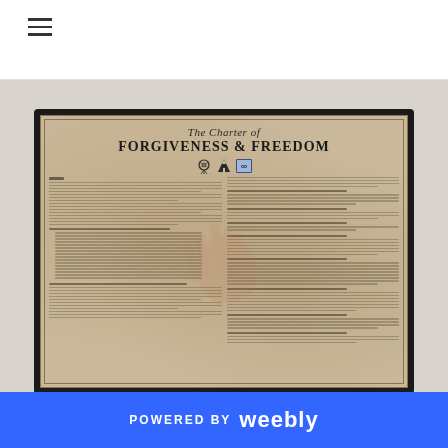Navigation menu (hamburger icon)
[Figure (photo): Framed poster photograph: 'The Charter of Forgiveness & Freedom' printed on aged parchment paper with two-column text, Native American and spiritual icons (dreamcatcher, teepee, infinity symbol), displayed in a black frame against a light grey wall]
POWERED BY weebly